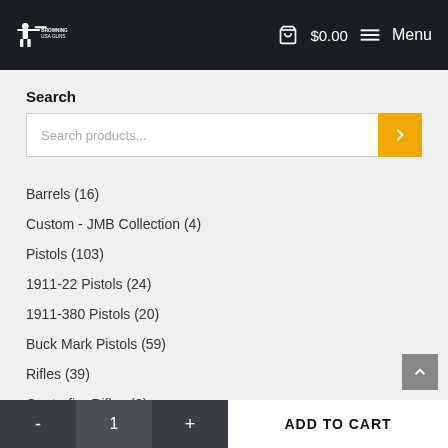Browning USA Guns — $0.00 Menu
Search
Barrels (16)
Custom - JMB Collection (4)
Pistols (103)
1911-22 Pistols (24)
1911-380 Pistols (20)
Buck Mark Pistols (59)
Rifles (39)
Centerfire Rifles (2)
X-Bolt Rifles (2)
- 1 + ADD TO CART